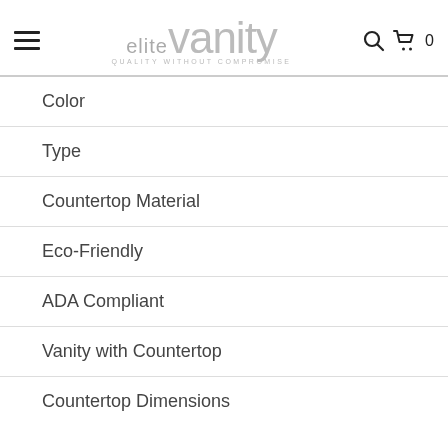elite vanity — QUALITY WITHOUT COMPROMISE
Color
Type
Countertop Material
Eco-Friendly
ADA Compliant
Vanity with Countertop
Countertop Dimensions